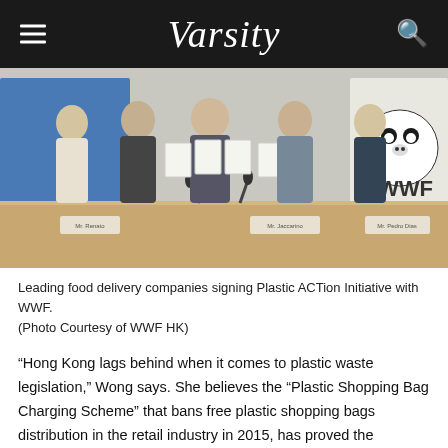Varsity
[Figure (photo): Five men standing behind a conference table holding up signed documents. A WWF logo (panda) is visible on a banner to the right. Microphones are on the table. Name placards are on the table.]
Leading food delivery companies signing Plastic ACTion Initiative with WWF.
(Photo Courtesy of WWF HK)
“Hong Kong lags behind when it comes to plastic waste legislation,” Wong says. She believes the “Plastic Shopping Bag Charging Scheme” that bans free plastic shopping bags distribution in the retail industry in 2015, has proved the effectiveness of legislation.